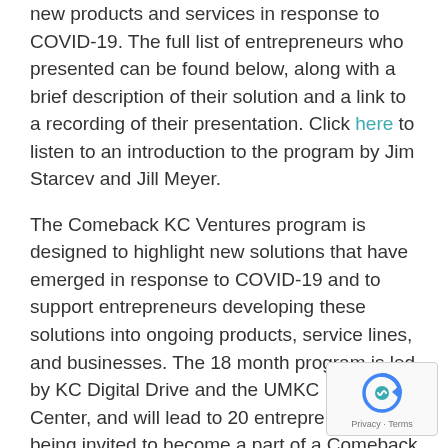new products and services in response to COVID-19. The full list of entrepreneurs who presented can be found below, along with a brief description of their solution and a link to a recording of their presentation. Click here to listen to an introduction to the program by Jim Starcev and Jill Meyer.
The Comeback KC Ventures program is designed to highlight new solutions that have emerged in response to COVID-19 and to support entrepreneurs developing these solutions into ongoing products, service lines, and businesses. The 18 month program is led by KC Digital Drive and the UMKC Innovation Center, and will lead to 20 entrepreneurs being invited to become a part of a Comeback KC Venture Fellows group. More information about the program can be found here.
The next Comeback KC Ventures Innovation Showcase is currently planned for early next year.